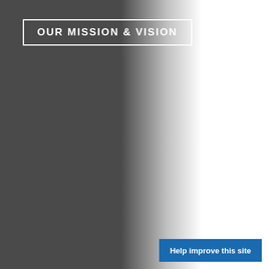[Figure (illustration): Background image with a dark grey left side fading via gradient to white on the right side]
OUR MISSION & VISION
Help improve this site